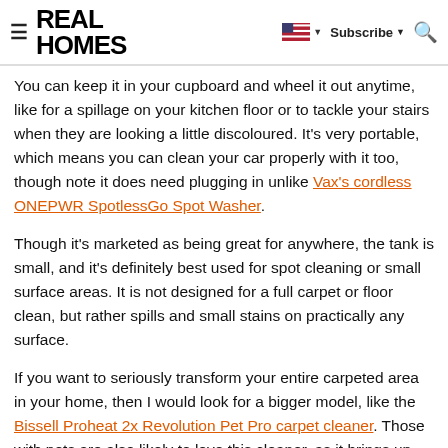REAL HOMES
You can keep it in your cupboard and wheel it out anytime, like for a spillage on your kitchen floor or to tackle your stairs when they are looking a little discoloured. It's very portable, which means you can clean your car properly with it too, though note it does need plugging in unlike Vax's cordless ONEPWR SpotlessGo Spot Washer.
Though it's marketed as being great for anywhere, the tank is small, and it's definitely best used for spot cleaning or small surface areas. It is not designed for a full carpet or floor clean, but rather spills and small stains on practically any surface.
If you want to seriously transform your entire carpeted area in your home, then I would look for a bigger model, like the Bissell Proheat 2x Revolution Pet Pro carpet cleaner. Those with pets are also likely to love this cleaner, as it brings up